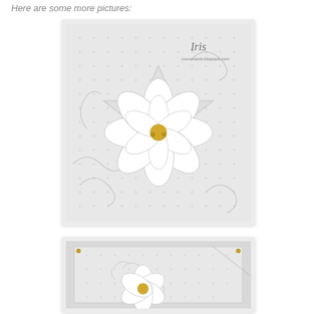Here are some more pictures:
[Figure (photo): White poinsettia flower craft card with embossed background featuring scroll and leaf patterns with dot texture, decorative lace-style die-cut layer, gold bead center, and 'Iris' watermark/logo in top right corner.]
[Figure (photo): Second view of white poinsettia flower craft card showing the card partially open or at an angle, revealing the embossed dotted background with swirl patterns and the white flower with gold center, small gold brads visible at corners.]